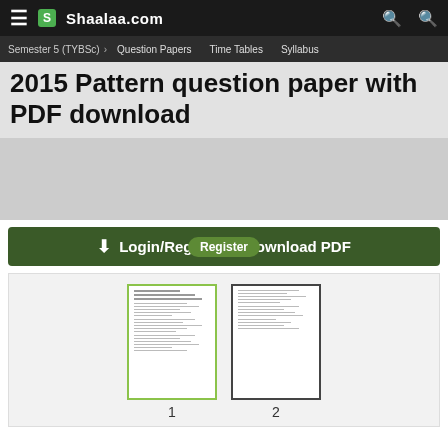Shaalaa.com
Semester 5 (TYBSc) > Question Papers  Time Tables  Syllabus
2015 Pattern question paper with PDF download
[Figure (screenshot): Advertisement area placeholder]
Login/Register to download PDF
[Figure (screenshot): Two page thumbnails of the question paper, labeled 1 and 2]